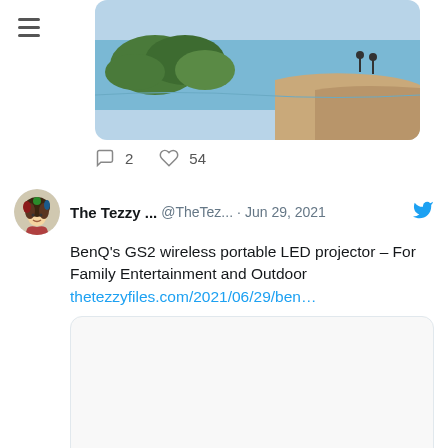[Figure (photo): Beach/coastal scene with green mangrove trees, sandy shore, and blue water with distant figures]
2  54
[Figure (photo): The Tezzy Files Twitter profile avatar - illustrated woman with colorful hair]
The Tezzy ... @TheTez... · Jun 29, 2021
BenQ's GS2 wireless portable LED projector – For Family Entertainment and Outdoor
thetezzyfiles.com/2021/06/29/ben…
[Figure (screenshot): Empty white card/preview area for linked article]